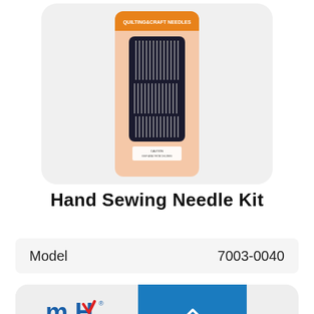[Figure (photo): Product photo of a Hand Sewing Needle Kit in peach/tan packaging with a clear window showing multiple sewing needles arranged in rows on a black velvet backing. The packaging has an orange banner at the top reading QUILTING&CRAFT NEEDLES.]
Hand Sewing Needle Kit
| Model | 7003-0040 |
| --- | --- |
[Figure (logo): mH brand logo in blue and red on a light gray rounded card, with a blue rectangle on the right containing a double upward chevron arrow icon in white.]